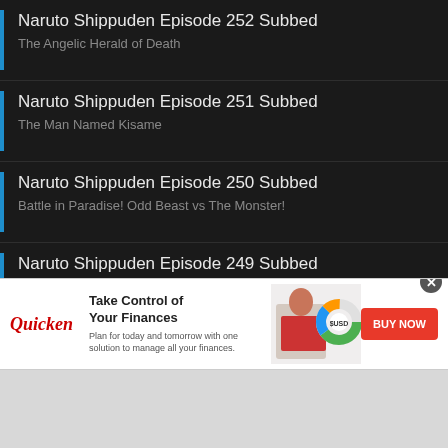Naruto Shippuden Episode 252 Subbed
The Angelic Herald of Death
Naruto Shippuden Episode 251 Subbed
The Man Named Kisame
Naruto Shippuden Episode 250 Subbed
Battle in Paradise! Odd Beast vs The Monster!
Naruto Shippuden Episode 249 Subbed
Thank You!
Naruto Shippuden Episode 248 Subbed
The Fourth Hokage's Death Match!
Naruto Shippuden Episode 247 Subbed
[Figure (infographic): Quicken advertisement banner with logo, headline 'Take Control of Your Finances', body text, a photo of a woman working on a laptop, a donut chart graphic, and a red 'BUY NOW' button]